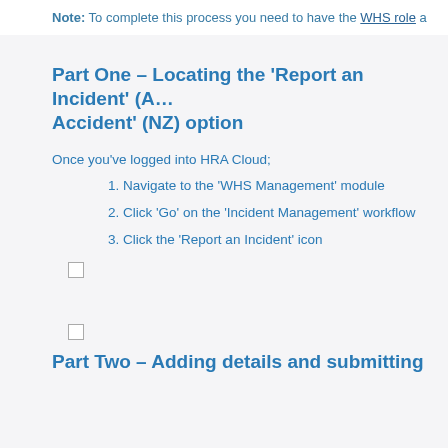Note: To complete this process you need to have the WHS role a…
Part One – Locating the 'Report an Incident' (A… Accident' (NZ) option
Once you've logged into HRA Cloud;
1. Navigate to the 'WHS Management' module
2. Click 'Go' on the 'Incident Management' workflow
3. Click the 'Report an Incident' icon
Part Two – Adding details and submitting